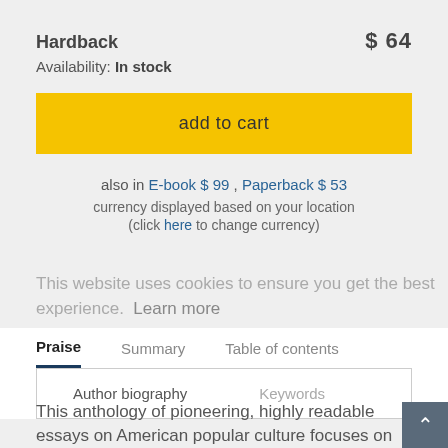Hardback   $ 64
Availability: In stock
add to cart
also in E-book $ 99 , Paperback $ 53
currency displayed based on your location
(click here to change currency)
This website uses cookies to ensure you get the best experience.  Learn more
Praise   Summary   Table of contents
Author biography   Keywords
This anthology of pioneering, highly readable essays on American popular culture focuses on how